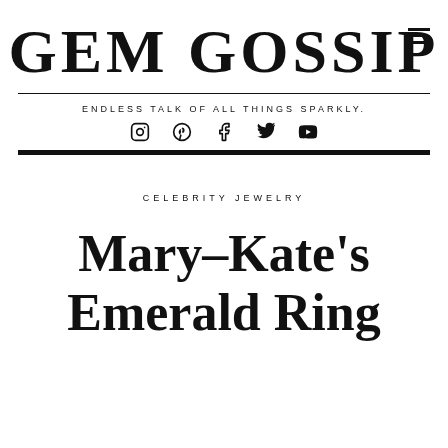GEM GOSSIP
ENDLESS TALK OF ALL THINGS SPARKLY.
CELEBRITY JEWELRY
Mary–Kate's Emerald Ring